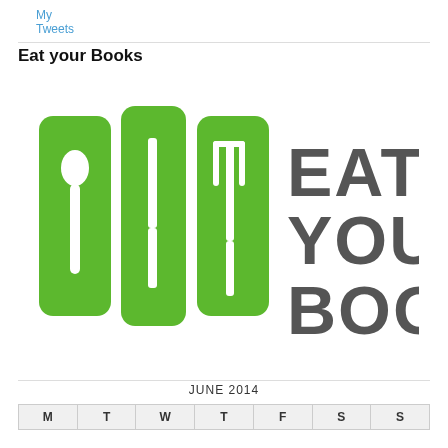My Tweets
Eat your Books
[Figure (logo): Eat Your Books logo: three green rounded rectangles containing white silhouettes of a spoon, knife, and fork (resembling books on a shelf), with the text 'EAT YOUR BOOKS' in large dark gray letters to the right.]
| M | T | W | T | F | S | S |
| --- | --- | --- | --- | --- | --- | --- |